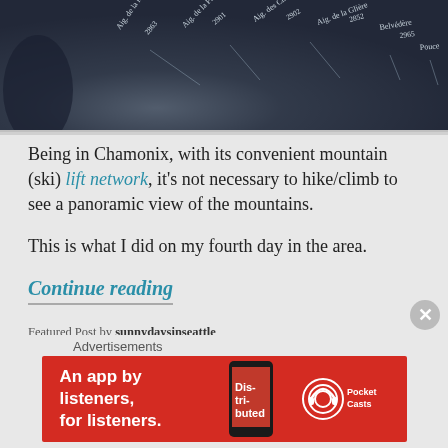[Figure (photo): Close-up photo of a dark stone/granite engraved panoramic mountain map showing mountain names and elevations including Aig. de la Perseverance 2901, Aig. des Chamois 2902, Aig. de la Gliere 2852, Belvédère 2965, from Chamonix area]
Being in Chamonix, with its convenient mountain (ski) lift network, it's not necessary to hike/climb to see a panoramic view of the mountains.
This is what I did on my fourth day in the area.
Continue reading
Featured Post by sunnydaysinseattle
Posted in Europe, Photography, Travel, Travel/Europe
Advertisements
[Figure (screenshot): Red advertisement banner for Pocket Casts app with text 'An app by listeners, for listeners.' and Pocket Casts logo with phone image showing 'Distributed' on screen]